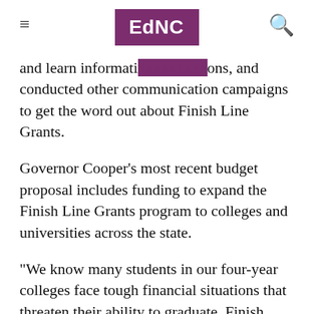EdNC
and learn informati…ons, and conducted other communication campaigns to get the word out about Finish Line Grants.
Governor Cooper's most recent budget proposal includes funding to expand the Finish Line Grants program to colleges and universities across the state.
“We know many students in our four-year colleges face tough financial situations that threaten their ability to graduate. Finish Line Grants should be available to all students who need them—and my hope is this legislature